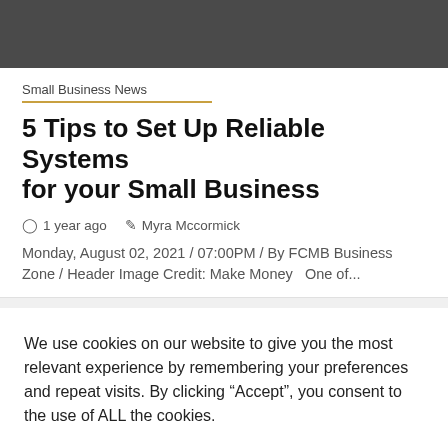Small Business News
5 Tips to Set Up Reliable Systems for your Small Business
1 year ago   Myra Mccormick
Monday, August 02, 2021 / 07:00PM / By FCMB Business Zone / Header Image Credit: Make Money   One of...
We use cookies on our website to give you the most relevant experience by remembering your preferences and repeat visits. By clicking “Accept”, you consent to the use of ALL the cookies.
Cookie settings   ACCEPT